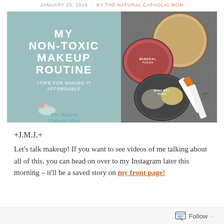JANUARY 23, 2019 · BY THE NATURAL CATHOLIC MOM
[Figure (photo): Blog post hero image showing two panels: left panel has mint/teal background with white text reading 'MY NON-TOXIC MAKEUP ROUTINE +TIPS FOR MAKING IT AFFORDABLE' and the Natural Catholic Mom logo; right panel shows makeup products including Mineral Fusion eyeshadow compacts, a large bronzer/powder compact, and lip balm sticks on a granite surface.]
+J.M.J.+
Let’s talk makeup! If you want to see videos of me talking about all of this, you can head on over to my Instagram later this morning – it’ll be a saved story on my front page!